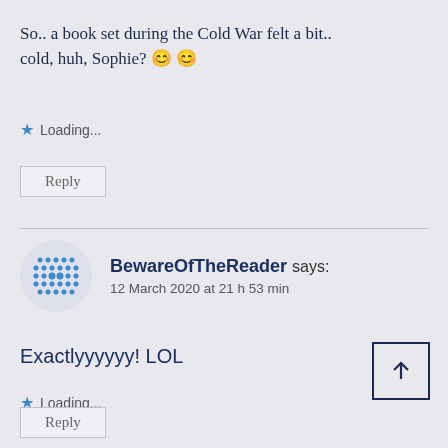So.. a book set during the Cold War felt a bit.. cold, huh, Sophie? 😊 😊
Loading...
Reply
BewareOfTheReader says: 12 March 2020 at 21 h 53 min
Exactlyyyyyy! LOL
Loading...
Reply